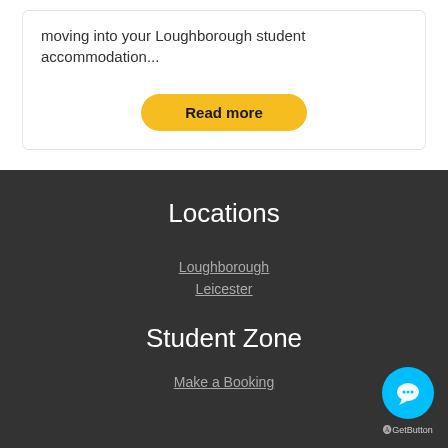moving into your Loughborough student accommodation...
Read more
Locations
Loughborough
Leicester
Student Zone
Make a Booking
[Figure (other): Cyan chat bubble button with speech bubble icon and GetButton label]